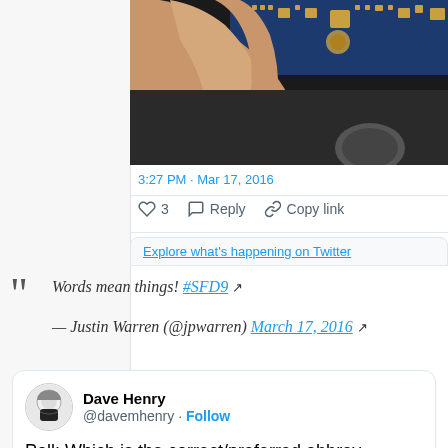[Figure (photo): A hand holding a blue PCB circuit board, partially cropped at the top of the page]
3:27 PM · Mar 17, 2016
♡ 3   Reply   Copy link
Explore what's happening on Twitter
Words mean things! #SFD9 ↗
— Justin Warren (@jpwarren) March 17, 2016 ↗
Dave Henry @davemhenry · Follow
Poll: Which is the correct/preferred abbrev